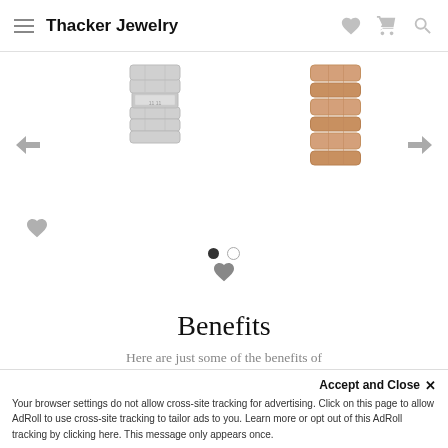Thacker Jewelry
[Figure (photo): Two watch bracelet/band product images shown in a carousel slider. Left product shows a silver/steel watch bracelet with left arrow navigation. Right product shows a rose gold watch bracelet with right arrow navigation. Heart/wishlist icons and pagination dots are visible.]
Benefits
Here are just some of the benefits of purchasing this special item through our store.
Lifetime Warranty
Free Shipping
Flexible Financing
Accept and Close ×
Your browser settings do not allow cross-site tracking for advertising. Click on this page to allow AdRoll to use cross-site tracking to tailor ads to you. Learn more or opt out of this AdRoll tracking by clicking here. This message only appears once.